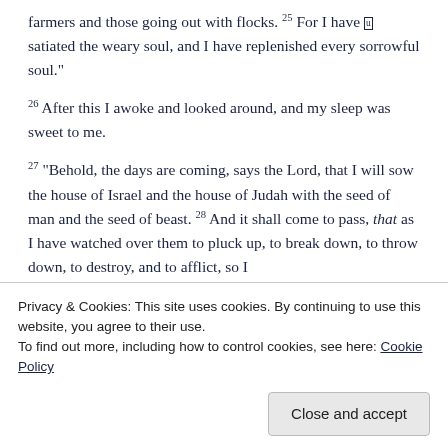farmers and those going out with flocks. 25 For I have [u]satiated the weary soul, and I have replenished every sorrowful soul."
26 After this I awoke and looked around, and my sleep was sweet to me.
27 "Behold, the days are coming, says the Lord, that I will sow the house of Israel and the house of Judah with the seed of man and the seed of beast. 28 And it shall come to pass, that as I have watched over them to pluck up, to break down, to throw down, to destroy, and to afflict, so I
Privacy & Cookies: This site uses cookies. By continuing to use this website, you agree to their use.
To find out more, including how to control cookies, see here: Cookie Policy